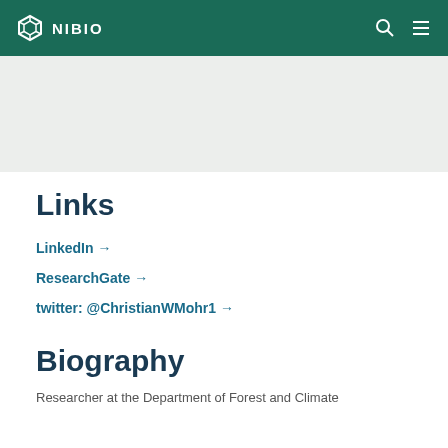NIBIO
Links
LinkedIn →
ResearchGate →
twitter: @ChristianWMohr1 →
Biography
Researcher at the Department of Forest and Climate